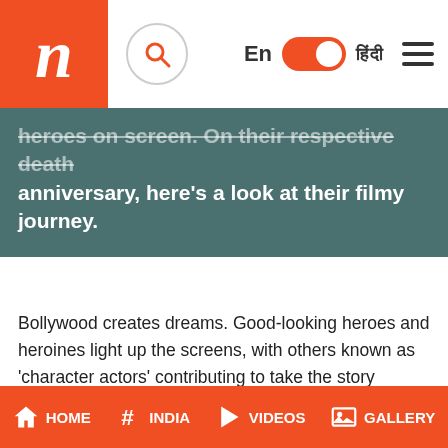n | En | हिंदी
heroes on screen. On their respective death anniversary, here's a look at their filmy journey.
Bollywood creates dreams. Good-looking heroes and heroines light up the screens, with others known as 'character actors' contributing to take the story forward. However, anti-hero brothers - Madan Puri and Amrish Puri repeatedly proved that fine character actors can make a serious impact, even if the film is dominated by larger-than-life stars.
HOME | INDIA | VIDEOS | GALLERY